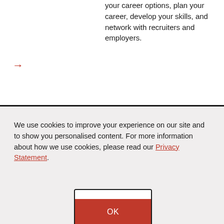your career options, plan your career, develop your skills, and network with recruiters and employers.
→
We use cookies to improve your experience on our site and to show you personalised content. For more information about how we use cookies, please read our Privacy Statement.
[Figure (other): OK button with red background and white text, with a small white top section, bordered in dark]